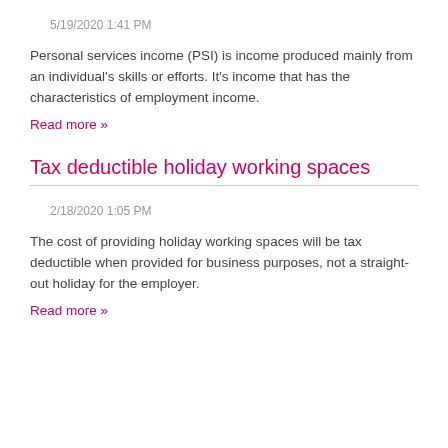5/19/2020 1:41 PM
Personal services income (PSI) is income produced mainly from an individual's skills or efforts. It's income that has the characteristics of employment income.
Read more »
Tax deductible holiday working spaces
2/18/2020 1:05 PM
The cost of providing holiday working spaces will be tax deductible when provided for business purposes, not a straight-out holiday for the employer.
Read more »